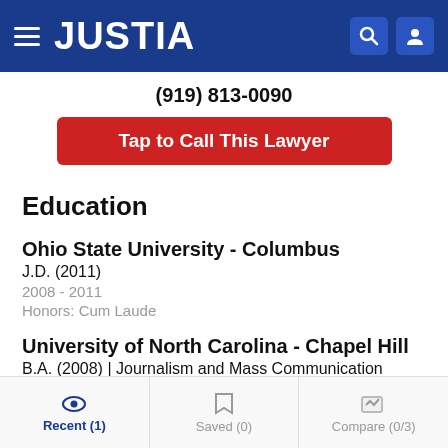JUSTIA
(919) 813-0090
Tap to Call This Lawyer
Education
Ohio State University - Columbus
J.D. (2011)
2008 - 2011
Honors: Cum Laude
University of North Carolina - Chapel Hill
B.A. (2008) | Journalism and Mass Communication
2005 - 2008
Recent (1)   Saved (0)   Compare (0/3)